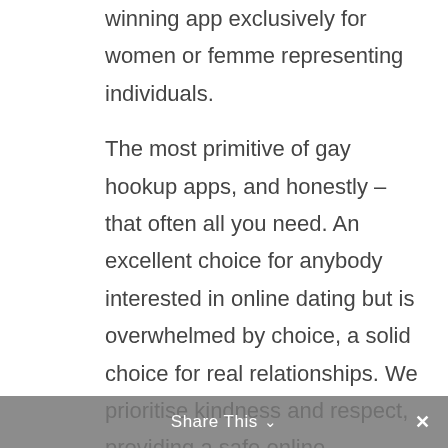winning app exclusively for women or femme representing individuals.

The most primitive of gay hookup apps, and honestly – that often all you need. An excellent choice for anybody interested in online dating but is overwhelmed by choice, a solid choice for real relationships. We prioritise kindness and respect, providing a safe online community for users to build new relationships. With EliteSingles we do the heavy lifting for you, we send you 3-7 matches per day so you can sit back, relax, and enjoy dating. When you think of dating
Share This ∨  ✕